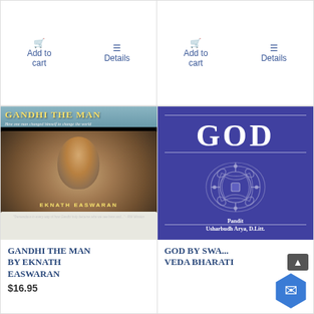Add to cart
Details
Add to cart
Details
[Figure (photo): Book cover of Gandhi The Man by Eknath Easwaran showing Gandhi's face in black and white with a teal header]
[Figure (photo): Book cover of God by Pandit Usharbudh Arya D.Litt with purple background, large white GOD text and decorative mandala]
Gandhi the Man by Eknath Easwaran
$16.95
God by Swami Veda Bharati